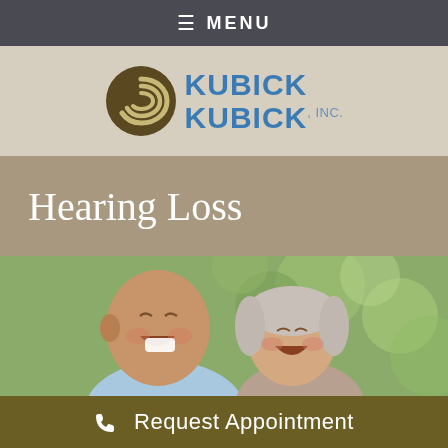≡ MENU
[Figure (logo): Kubick Kubick Inc. logo with circular shell/ear icon and blue text]
Hearing Loss
[Figure (photo): Elderly man and woman laughing together outdoors with green bokeh background]
☎ Request Appointment